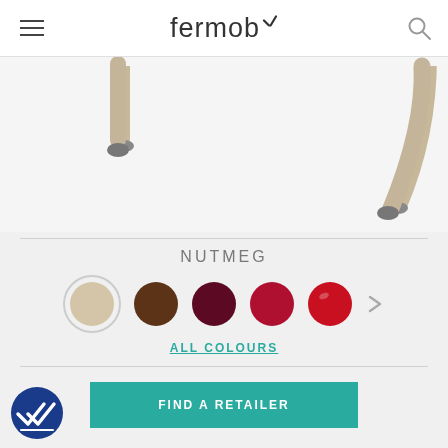Fermob
[Figure (photo): Close-up of furniture legs (table or chair) in nutmeg/beige color on white background]
NUTMEG
[Figure (infographic): Color swatches: nutmeg/beige (selected), brown, dark red/burgundy, crimson red, bright red, with right arrow for more]
ALL COLOURS
FIND A RETAILER